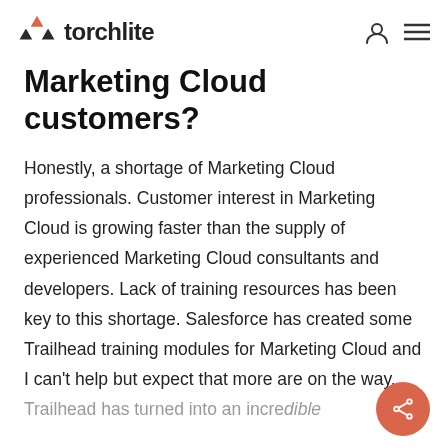torchlite
Marketing Cloud customers?
Honestly, a shortage of Marketing Cloud professionals. Customer interest in Marketing Cloud is growing faster than the supply of experienced Marketing Cloud consultants and developers. Lack of training resources has been key to this shortage. Salesforce has created some Trailhead training modules for Marketing Cloud and I can't help but expect that more are on the way. Trailhead has turned into an incredible